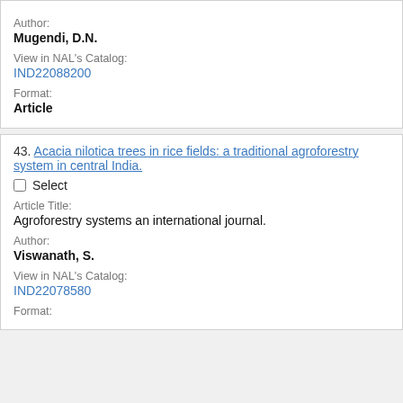Author:
Mugendi, D.N.
View in NAL's Catalog:
IND22088200
Format:
Article
43. Acacia nilotica trees in rice fields: a traditional agroforestry system in central India.
Select
Article Title:
Agroforestry systems an international journal.
Author:
Viswanath, S.
View in NAL's Catalog:
IND22078580
Format: